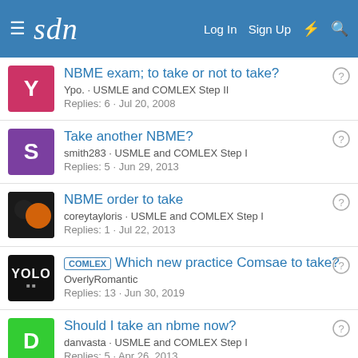sdn — Log In  Sign Up
NBME exam; to take or not to take? — Ypo. · USMLE and COMLEX Step II — Replies: 6 · Jul 20, 2008
Take another NBME? — smith283 · USMLE and COMLEX Step I — Replies: 5 · Jun 29, 2013
NBME order to take — coreytayloris · USMLE and COMLEX Step I — Replies: 1 · Jul 22, 2013
[COMLEX] Which new practice Comsae to take? — OvleyRomantic — Replies: 13 · Jun 30, 2019
Should I take an nbme now? — danvasta · USMLE and COMLEX Step I — Replies: 5 · Apr 26, 2013